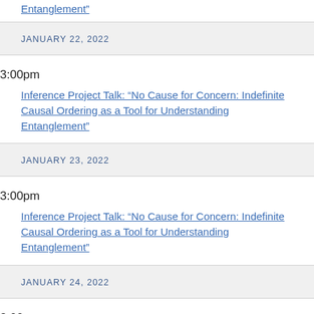Entanglement
JANUARY 22, 2022
3:00pm
Inference Project Talk: “No Cause for Concern: Indefinite Causal Ordering as a Tool for Understanding Entanglement”
JANUARY 23, 2022
3:00pm
Inference Project Talk: “No Cause for Concern: Indefinite Causal Ordering as a Tool for Understanding Entanglement”
JANUARY 24, 2022
3:00pm
Inference Project Talk: “No Cause for Concern: Indefinite